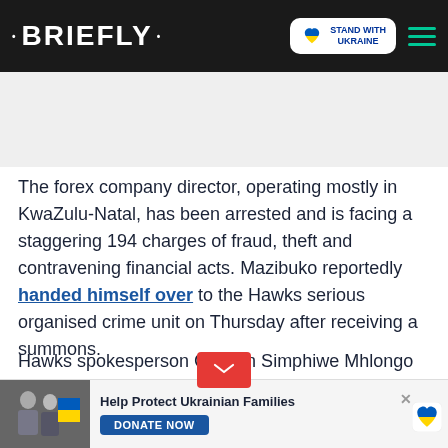• BRIEFLY •
[Figure (logo): Briefly news website logo with Stand With Ukraine badge and hamburger menu on black header]
[Figure (other): Gray advertisement placeholder area]
The forex company director, operating mostly in KwaZulu-Natal, has been arrested and is facing a staggering 194 charges of fraud, theft and contravening financial acts. Mazibuko reportedly handed himself over to the Hawks serious organised crime unit on Thursday after receiving a summons.
Hawks spokesperson Captian Simphiwe Mhlongo says that Mazibuko had allegedly lured victims to invest money in his
[Figure (infographic): Bottom advertisement banner: Help Protect Ukrainian Families with DONATE NOW button, showing people with Ukrainian flag, heart icon with Ukrainian flag colors, and red email dropdown button overlay]